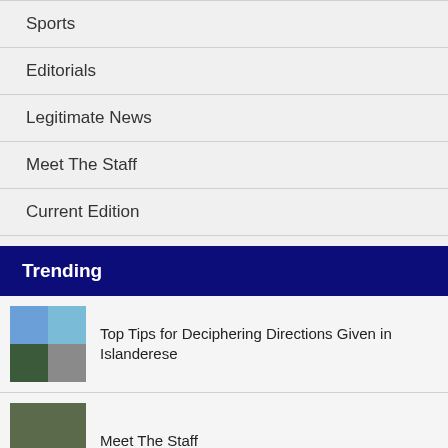Sports
Editorials
Legitimate News
Meet The Staff
Current Edition
Trending
Top Tips for Deciphering Directions Given in Islanderese
Meet The Staff
Mona's Movies: Alfred Hitchcock's North by